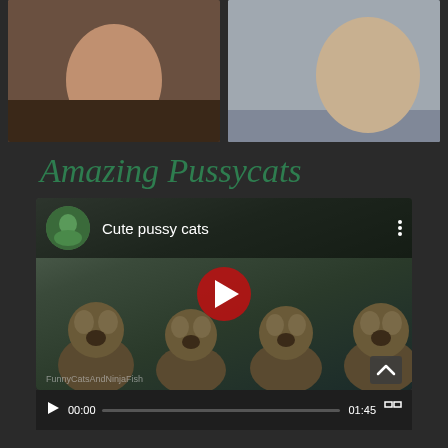[Figure (photo): Two photos side by side at top: left shows a person posing outdoors, right shows a person on a beach]
Amazing Pussycats
[Figure (screenshot): YouTube video thumbnail showing cute kittens with title 'Cute pussy cats', red play button in center, video controls at bottom showing 00:00 / 01:45]